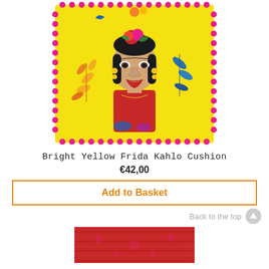[Figure (photo): Bright yellow Frida Kahlo decorative cushion with colorful floral motifs, portrait of Frida Kahlo in the center, with pink pom-pom trim border]
Bright Yellow Frida Kahlo Cushion
€42,00
Add to Basket
Back to the top
[Figure (photo): Red woven rug or mat product shown at bottom of page]